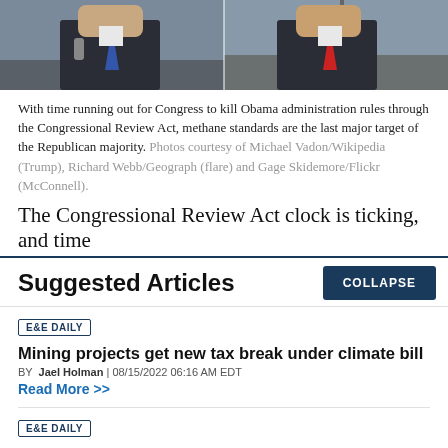[Figure (photo): Two men in suits at the top of the page — one wearing a blue tie (left), one wearing a red tie (right), shown from chest up against a sky/outdoor background.]
With time running out for Congress to kill Obama administration rules through the Congressional Review Act, methane standards are the last major target of the Republican majority. Photos courtesy of Michael Vadon/Wikipedia (Trump), Richard Webb/Geograph (flare) and Gage Skidemore/Flickr (McConnell).
The Congressional Review Act clock is ticking, and time
Suggested Articles
COLLAPSE
E&E DAILY
Mining projects get new tax break under climate bill
BY Jael Holman | 08/15/2022 06:16 AM EDT
Read More >>
E&E DAILY
'A lot more to do': Lawmakers eye additional climate action